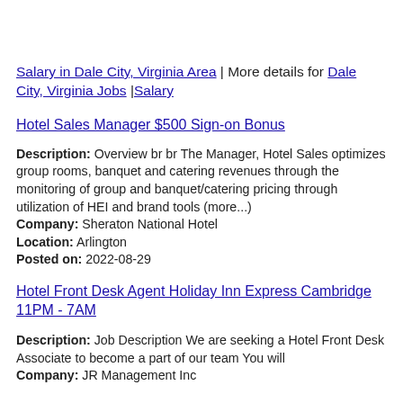Salary in Dale City, Virginia Area | More details for Dale City, Virginia Jobs |Salary
Hotel Sales Manager $500 Sign-on Bonus
Description: Overview br br The Manager, Hotel Sales optimizes group rooms, banquet and catering revenues through the monitoring of group and banquet/catering pricing through utilization of HEI and brand tools (more...) Company: Sheraton National Hotel Location: Arlington Posted on: 2022-08-29
Hotel Front Desk Agent Holiday Inn Express Cambridge 11PM - 7AM
Description: Job Description We are seeking a Hotel Front Desk Associate to become a part of our team You will Company: JR Management Inc